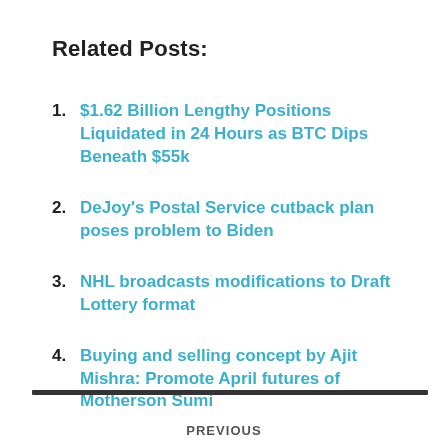Related Posts:
$1.62 Billion Lengthy Positions Liquidated in 24 Hours as BTC Dips Beneath $55k
DeJoy's Postal Service cutback plan poses problem to Biden
NHL broadcasts modifications to Draft Lottery format
Buying and selling concept by Ajit Mishra: Promote April futures of Motherson Sumi
PREVIOUS